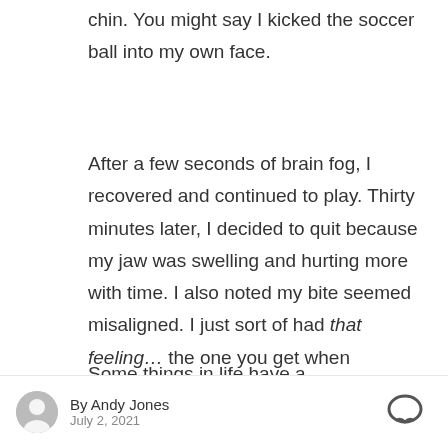chin. You might say I kicked the soccer ball into my own face.
After a few seconds of brain fog, I recovered and continued to play. Thirty minutes later, I decided to quit because my jaw was swelling and hurting more with time. I also noted my bite seemed misaligned. I just sort of had that feeling… the one you get when something isn't quite right. You know the feeling.
Some things in life have a characteristic introductory feeling, an indication that
By Andy Jones July 2, 2021